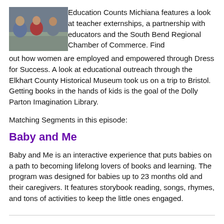[Figure (photo): Photo of people sitting at a table, appearing to be in a meeting or discussion. Multiple adults visible.]
Education Counts Michiana features a look at teacher externships, a partnership with educators and the South Bend Regional Chamber of Commerce. Find out how women are employed and empowered through Dress for Success. A look at educational outreach through the Elkhart County Historical Museum took us on a trip to Bristol. Getting books in the hands of kids is the goal of the Dolly Parton Imagination Library.
Matching Segments in this episode:
Baby and Me
Baby and Me is an interactive experience that puts babies on a path to becoming lifelong lovers of books and learning. The program was designed for babies up to 23 months old and their caregivers. It features storybook reading, songs, rhymes, and tons of activities to keep the little ones engaged.